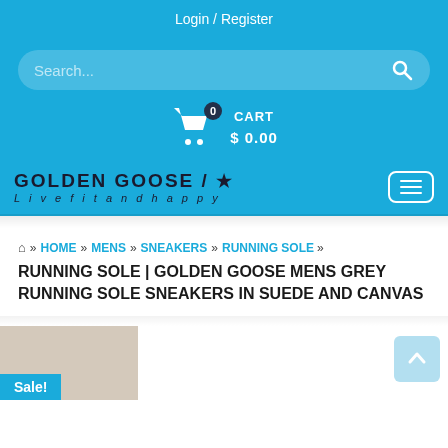Login / Register
[Figure (screenshot): Search bar with placeholder text 'Search...' and a magnifying glass icon on a blue background]
CART $ 0.00
[Figure (logo): Golden Goose / Livefitandhappy logo with star icon on blue background]
HOME » MENS » SNEAKERS » RUNNING SOLE »
RUNNING SOLE | GOLDEN GOOSE MENS GREY RUNNING SOLE SNEAKERS IN SUEDE AND CANVAS
Sale!